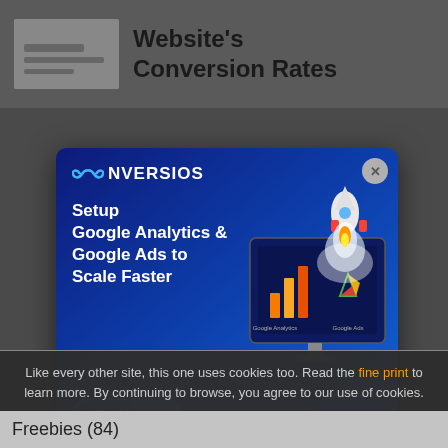Website's Conversion Rates
[Figure (screenshot): Conversios popup ad: Setup Google Analytics & Google Ads to Scale Faster, with a Try Now button and illustration of a rocket launching from a computer monitor showing Google Analytics and Google Ads logos]
Database (1)
Deals (21)
Like every other site, this one uses cookies too. Read the fine print to learn more. By continuing to browse, you agree to our use of cookies.
Freebies (84)